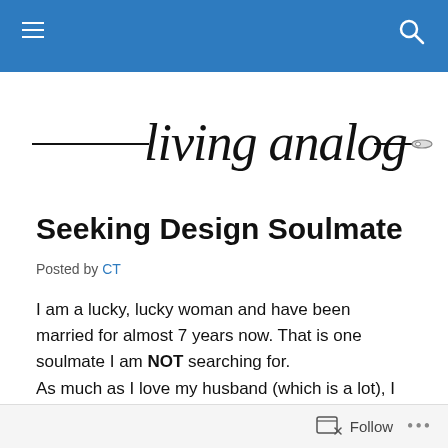living analog — navigation bar
[Figure (logo): Living analog blog logo — cursive handwritten text 'living analog' with a needle-and-thread illustration forming a horizontal line through the text]
Seeking Design Soulmate
Posted by CT
I am a lucky, lucky woman and have been married for almost 7 years now.  That is one soulmate I am NOT searching for.
As much as I love my husband (which is a lot), I am still
Follow  •••